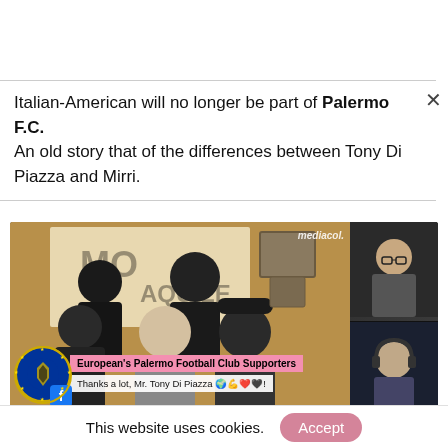Italian-American will no longer be part of Palermo F.C. An old story that of the differences between Tony Di Piazza and Mirri.
[Figure (photo): Video screenshot showing a group of people at a Palermo Football Club supporters event. A pink banner overlay reads 'European's Palermo Football Club Supporters' and below 'Thanks a lot, Mr. Tony Di Piazza [emojis]!'. A mediacol watermark appears top right. Two smaller video call panels are visible on the right. A Palermo FC circular logo and Facebook icon appear bottom left.]
This website uses cookies.